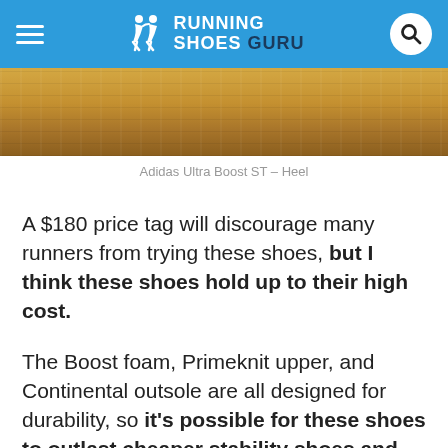RUNNING SHOES GURU
[Figure (photo): Close-up photo of the heel of an Adidas Ultra Boost ST shoe, showing a golden/tan colored heel cup]
Adidas Ultra Boost ST – Heel
A $180 price tag will discourage many runners from trying these shoes, but I think these shoes hold up to their high cost.
The Boost foam, Primeknit upper, and Continental outsole are all designed for durability, so it's possible for these shoes to outlast cheaper stability shoes and save you a bit of cash.
Throwing money aside, these shoes were great to